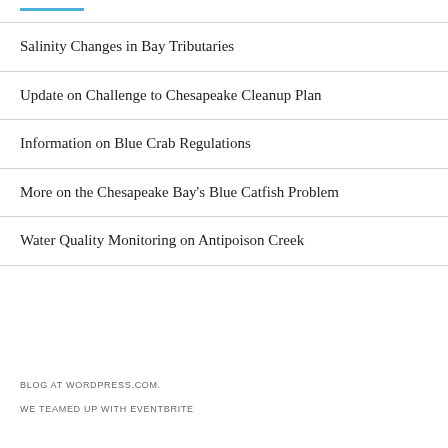Salinity Changes in Bay Tributaries
Update on Challenge to Chesapeake Cleanup Plan
Information on Blue Crab Regulations
More on the Chesapeake Bay's Blue Catfish Problem
Water Quality Monitoring on Antipoison Creek
BLOG AT WORDPRESS.COM.
WE TEAMED UP WITH EVENTBRITE